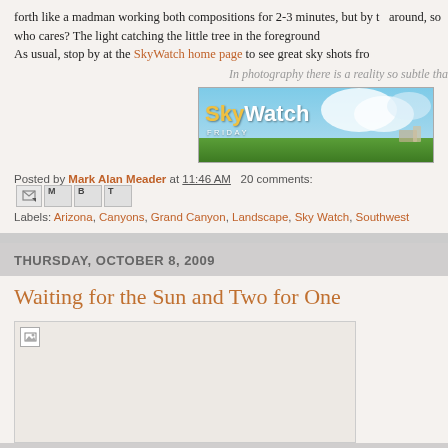forth like a madman working both compositions for 2-3 minutes, but by the around, so who cares? The light catching the little tree in the foreground As usual, stop by at the SkyWatch home page to see great sky shots from In photography there is a reality so subtle tha...
[Figure (photo): SkyWatch Friday banner image showing sky and green field landscape]
Posted by Mark Alan Meader at 11:46 AM  20 comments:
Labels: Arizona, Canyons, Grand Canyon, Landscape, Sky Watch, Southwest
THURSDAY, OCTOBER 8, 2009
Waiting for the Sun and Two for One
[Figure (photo): Placeholder image for blog post photo]